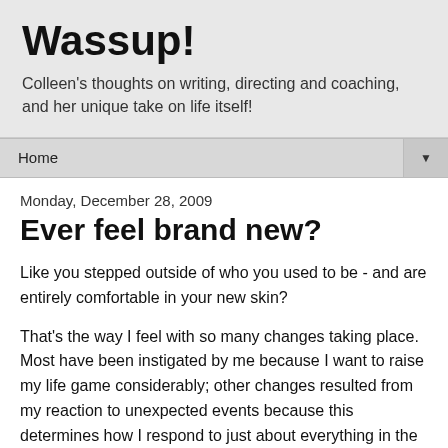Wassup!
Colleen's thoughts on writing, directing and coaching, and her unique take on life itself!
Home ▼
Monday, December 28, 2009
Ever feel brand new?
Like you stepped outside of who you used to be - and are entirely comfortable in your new skin?
That's the way I feel with so many changes taking place. Most have been instigated by me because I want to raise my life game considerably; other changes resulted from my reaction to unexpected events because this determines how I respond to just about everything in the future.